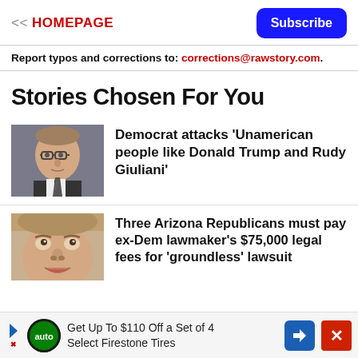<< HOMEPAGE  Subscribe
Report typos and corrections to: corrections@rawstory.com.
Stories Chosen For You
[Figure (photo): Headshot of older man with glasses wearing a suit and tie]
Democrat attacks 'Unamerican people like Donald Trump and Rudy Giuliani'
[Figure (photo): Close-up of man's face looking upward]
Three Arizona Republicans must pay ex-Dem lawmaker's $75,000 legal fees for 'groundless' lawsuit
Get Up To $110 Off a Set of 4 Select Firestone Tires